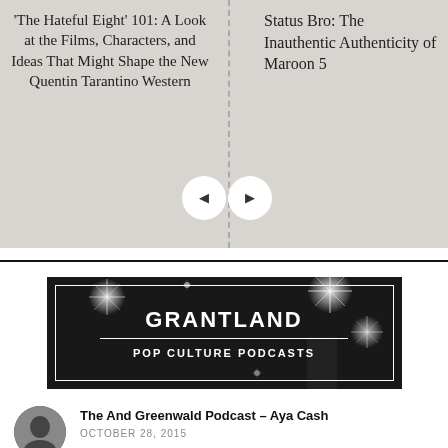'The Hateful Eight' 101: A Look at the Films, Characters, and Ideas That Might Shape the New Quentin Tarantino Western
Status Bro: The Inauthentic Authenticity of Maroon 5
[Figure (screenshot): Navigation carousel with left and right arrow buttons on a grey background]
[Figure (logo): Grantland Pop Culture Podcasts banner with starburst light effects on dark background]
The And Greenwald Podcast – Aya Cash
OCTOBER 28, 2015